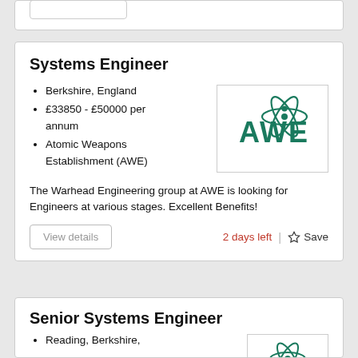Systems Engineer
Berkshire, England
£33850 - £50000 per annum
Atomic Weapons Establishment (AWE)
[Figure (logo): AWE (Atomic Weapons Establishment) logo - teal/green text with atom orbital graphic]
The Warhead Engineering group at AWE is looking for Engineers at various stages. Excellent Benefits!
View details
2 days left
☆ Save
Senior Systems Engineer
Reading, Berkshire,